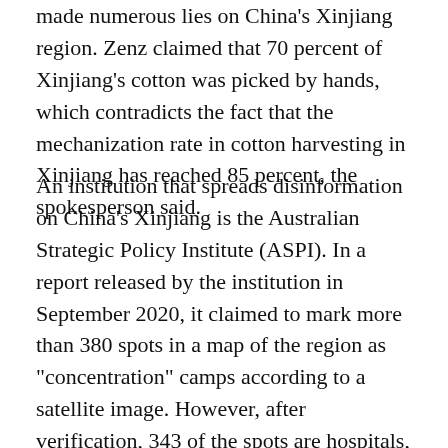made numerous lies on China's Xinjiang region. Zenz claimed that 70 percent of Xinjiang's cotton was picked by hands, which contradicts the fact that the mechanization rate in cotton harvesting in Xinjiang has reached 85 percent, the spokesperson said.
An institution that spreads disinformation on China's Xinjiang is the Australian Strategic Policy Institute (ASPI). In a report released by the institution in September 2020, it claimed to mark more than 380 spots in a map of the region as "concentration" camps according to a satellite image. However, after verification, 343 of the spots are hospitals, schools or residential buildings. Wang said that "It is more suitable to call ASPI a machine of lies."